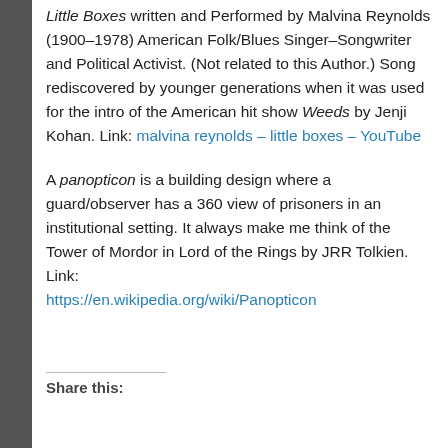Little Boxes written and Performed by Malvina Reynolds (1900–1978) American Folk/Blues Singer–Songwriter and Political Activist. (Not related to this Author.) Song rediscovered by younger generations when it was used for the intro of the American hit show Weeds by Jenji Kohan. Link: malvina reynolds – little boxes – YouTube
A panopticon is a building design where a guard/observer has a 360 view of prisoners in an institutional setting. It always make me think of the Tower of Mordor in Lord of the Rings by JRR Tolkien. Link: https://en.wikipedia.org/wiki/Panopticon
Share this: